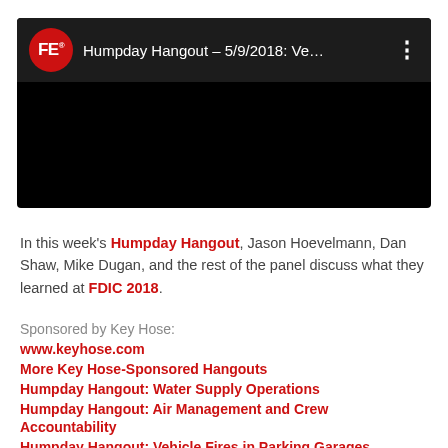[Figure (screenshot): YouTube-style video thumbnail with black background. Top bar shows FE logo (red circle with white FE text), title 'Humpday Hangout – 5/9/2018: Ve...', and a three-dot menu icon. The rest is a black video area.]
In this week's Humpday Hangout, Jason Hoevelmann, Dan Shaw, Mike Dugan, and the rest of the panel discuss what they learned at FDIC 2018.
Sponsored by Key Hose:
www.keyhose.com
More Key Hose-Sponsored Hangouts
Humpday Hangout: Water Supply Operations
Humpday Hangout: Air Management and Crew Accountability
Humpday Hangout: Vehicle Fires in Parking Garages
Humpday Hangout: LIVE from Sprinklermatic University